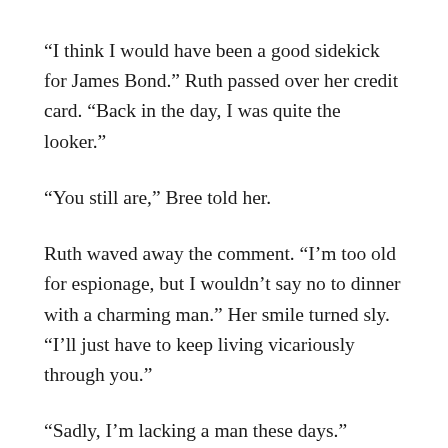“I think I would have been a good sidekick for James Bond.” Ruth passed over her credit card. “Back in the day, I was quite the looker.”
“You still are,” Bree told her.
Ruth waved away the comment. “I’m too old for espionage, but I wouldn’t say no to dinner with a charming man.” Her smile turned sly. “I’ll just have to keep living vicariously through you.”
“Sadly, I’m lacking a man these days.”
Ruth leaned close. “What I admire about you, Bree, is that you’re not holding out for love. You go after